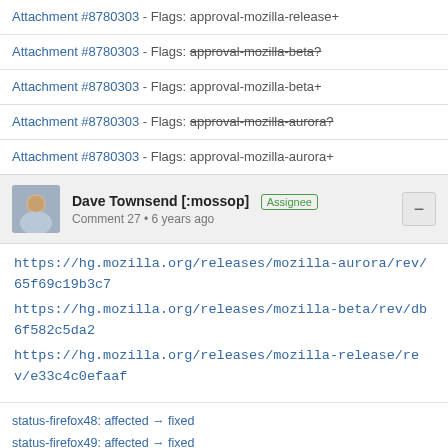Attachment #8780303 - Flags: approval-mozilla-release+
Attachment #8780303 - Flags: approval-mozilla-beta? (strikethrough)
Attachment #8780303 - Flags: approval-mozilla-beta+
Attachment #8780303 - Flags: approval-mozilla-aurora? (strikethrough)
Attachment #8780303 - Flags: approval-mozilla-aurora+
Dave Townsend [:mossop] Assignee
Comment 27 • 6 years ago
https://hg.mozilla.org/releases/mozilla-aurora/rev/65f69c19b3c7
https://hg.mozilla.org/releases/mozilla-beta/rev/db6f582c5da2
https://hg.mozilla.org/releases/mozilla-release/rev/e33c4c0efaaf
status-firefox48: affected → fixed
status-firefox49: affected → fixed
status-firefox50: affected → fixed
Al Billings [:abillings - ex-MoCo]